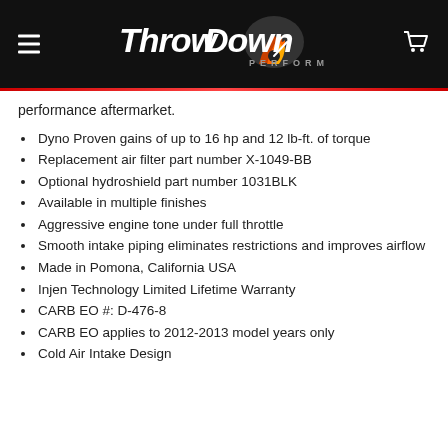[Figure (logo): ThrowDown Performance logo with flame/speedometer graphic on black background header, with hamburger menu icon on left and shopping cart icon on right]
performance aftermarket.
Dyno Proven gains of up to 16 hp and 12 lb-ft. of torque
Replacement air filter part number X-1049-BB
Optional hydroshield part number 1031BLK
Available in multiple finishes
Aggressive engine tone under full throttle
Smooth intake piping eliminates restrictions and improves airflow
Made in Pomona, California USA
Injen Technology Limited Lifetime Warranty
CARB EO #: D-476-8
CARB EO applies to 2012-2013 model years only
Cold Air Intake Design